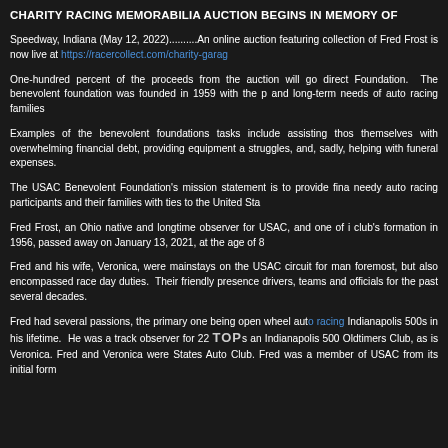CHARITY RACING MEMORABILIA AUCTION BEGINS IN MEMORY OF
Speedway, Indiana (May 12, 2022)..........An online auction featuring collection of Fred Frost is now live at https://racercollect.com/charity-garag
One-hundred percent of the proceeds from the auction will go direct Foundation. The benevolent foundation was founded in 1959 with the p and long-term needs of auto racing families
Examples of the benevolent foundations tasks include assisting thos themselves with overwhelming financial debt, providing equipment a struggles, and, sadly, helping with funeral expenses.
The USAC Benevolent Foundation's mission statement is to provide fina needy auto racing participants and their families with ties to the United Sta
Fred Frost, an Ohio native and longtime observer for USAC, and one of i club's formation in 1956, passed away on January 13, 2021, at the age of 8
Fred and his wife, Veronica, were mainstays on the USAC circuit for man foremost, but also encompassed race day duties. Their friendly presence drivers, teams and officials for the past several decades.
Fred had several passions, the primary one being open wheel auto racing Indianapolis 500s in his lifetime. He was a track observer for 22 TOP and Indianapolis 500 Oldtimers Club, as is Veronica. Fred and Veronica were States Auto Club. Fred was a member of USAC from its initial form